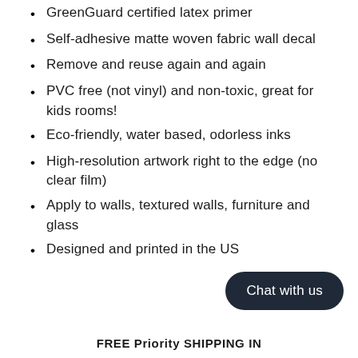GreenGuard certified latex primer
Self-adhesive matte woven fabric wall decal
Remove and reuse again and again
PVC free (not vinyl) and non-toxic, great for kids rooms!
Eco-friendly, water based, odorless inks
High-resolution artwork right to the edge (no clear film)
Apply to walls, textured walls, furniture and glass
Designed and printed in the US
Chat with us
FREE Priority SHIPPING IN